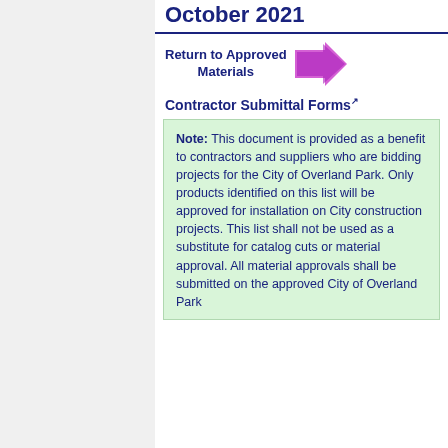October 2021
Return to Approved Materials
Contractor Submittal Forms
Note: This document is provided as a benefit to contractors and suppliers who are bidding projects for the City of Overland Park. Only products identified on this list will be approved for installation on City construction projects. This list shall not be used as a substitute for catalog cuts or material approval. All material approvals shall be submitted on the approved City of Overland Park